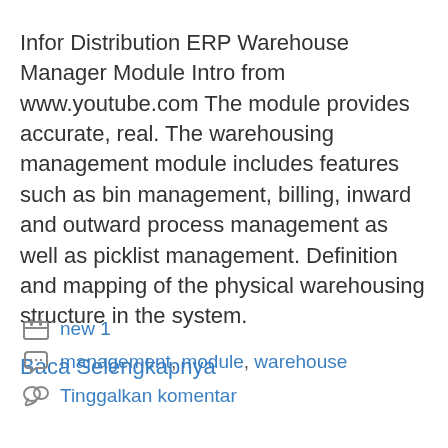Infor Distribution ERP Warehouse Manager Module Intro from www.youtube.com The module provides accurate, real. The warehousing management module includes features such as bin management, billing, inward and outward process management as well as picklist management. Definition and mapping of the physical warehousing structure in the system.
Baca Selengkapnya
new 1
management, module, warehouse
Tinggalkan komentar